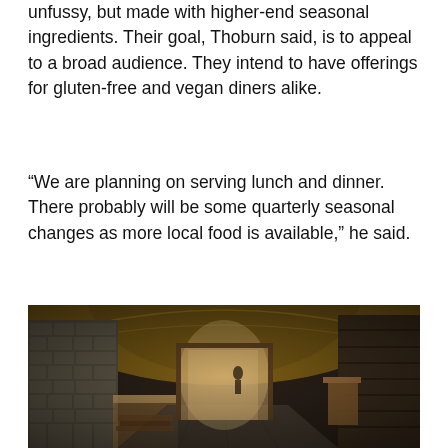unfussy, but made with higher-end seasonal ingredients. Their goal, Thoburn said, is to appeal to a broad audience. They intend to have offerings for gluten-free and vegan diners alike.
“We are planning on serving lunch and dinner. There probably will be some quarterly seasonal changes as more local food is available,” he said.
[Figure (photo): Interior of a rustic restaurant space under construction or renovation, showing a long hallway with a barrel-vaulted wooden ceiling, stone/brick wall on the left, wooden plank walls on the right, and an open doorway at the far end letting in light.]